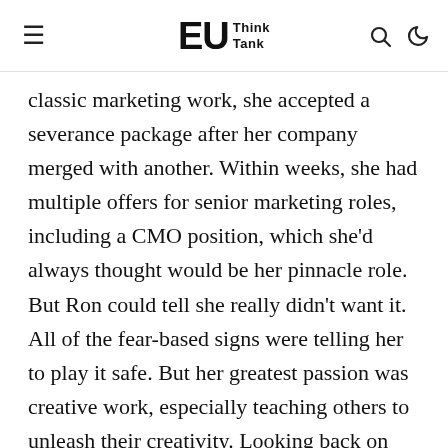EU Think Tank
classic marketing work, she accepted a severance package after her company merged with another. Within weeks, she had multiple offers for senior marketing roles, including a CMO position, which she'd always thought would be her pinnacle role. But Ron could tell she really didn't want it. All of the fear-based signs were telling her to play it safe. But her greatest passion was creative work, especially teaching others to unleash their creativity. Looking back on the places she spent her time, the work she loved, and impact she enjoyed, all those signs pointed in a different direction. She spent several months trying her hand at teaching graduate-level classes in creativity for entrepreneurs. A year later, she established a center focused on creativity for entrepreneurs in partnership with a local university.